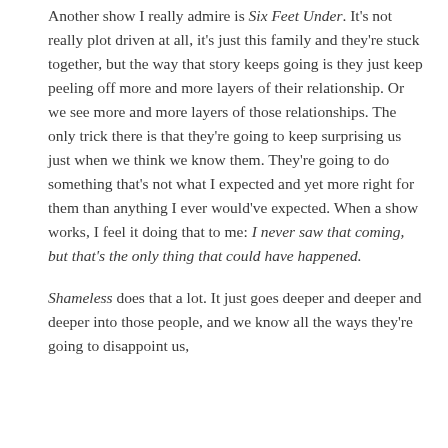Another show I really admire is Six Feet Under. It's not really plot driven at all, it's just this family and they're stuck together, but the way that story keeps going is they just keep peeling off more and more layers of their relationship. Or we see more and more layers of those relationships. The only trick there is that they're going to keep surprising us just when we think we know them. They're going to do something that's not what I expected and yet more right for them than anything I ever would've expected. When a show works, I feel it doing that to me: I never saw that coming, but that's the only thing that could have happened.
Shameless does that a lot. It just goes deeper and deeper and deeper into those people, and we know all the ways they're going to disappoint us,